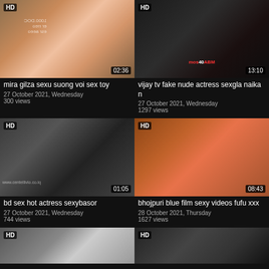[Figure (screenshot): Video thumbnail 1 - sex toy product]
mira gilza sexu suong voi sex toy
27 October 2021, Wednesday
300 views
[Figure (screenshot): Video thumbnail 2 - dark adult content]
vijay tv fake nude actress sexgla naika n
27 October 2021, Wednesday
1297 views
[Figure (screenshot): Video thumbnail 3 - asian adult content]
bd sex hot actress sexybasor
27 October 2021, Wednesday
744 views
[Figure (screenshot): Video thumbnail 4 - indian adult content]
bhojpuri blue film sexy videos fufu xxx
28 October 2021, Thursday
1627 views
[Figure (screenshot): Video thumbnail 5 - partial, woman smiling]
[Figure (screenshot): Video thumbnail 6 - partial, couple]